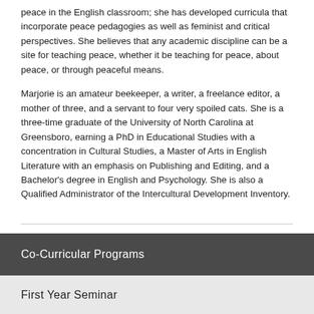peace in the English classroom; she has developed curricula that incorporate peace pedagogies as well as feminist and critical perspectives. She believes that any academic discipline can be a site for teaching peace, whether it be teaching for peace, about peace, or through peaceful means.
Marjorie is an amateur beekeeper, a writer, a freelance editor, a mother of three, and a servant to four very spoiled cats. She is a three-time graduate of the University of North Carolina at Greensboro, earning a PhD in Educational Studies with a concentration in Cultural Studies, a Master of Arts in English Literature with an emphasis on Publishing and Editing, and a Bachelor's degree in English and Psychology. She is also a Qualified Administrator of the Intercultural Development Inventory.
Co-Curricular Programs
First Year Seminar